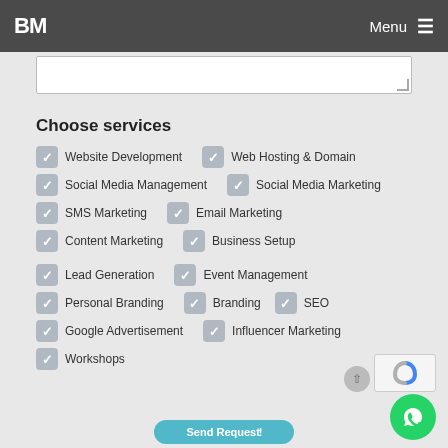BM | Menu ☰
Choose services
✓ Website Development   ✓ Web Hosting & Domain
✓ Social Media Management   ✓ Social Media Marketing
✓ SMS Marketing   ✓ Email Marketing
✓ Content Marketing   ✓ Business Setup
✓ Lead Generation   ✓ Event Management
✓ Personal Branding   ✓ Branding   ✓ SEO
✓ Google Advertisement   ✓ Influencer Marketing
✓ Workshops
Send Request!